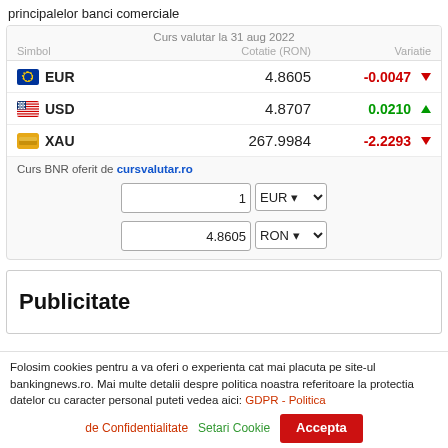principalelor banci comerciale
| Simbol | Cotatie (RON) | Variatie |
| --- | --- | --- |
| EUR | 4.8605 | -0.0047 |
| USD | 4.8707 | 0.0210 |
| XAU | 267.9984 | -2.2293 |
Curs BNR oferit de cursvalutar.ro
Publicitate
Folosim cookies pentru a va oferi o experienta cat mai placuta pe site-ul bankingnews.ro. Mai multe detalii despre politica noastra referitoare la protectia datelor cu caracter personal puteti vedea aici: GDPR - Politica de Confidentialitate   Setari Cookie   Accepta